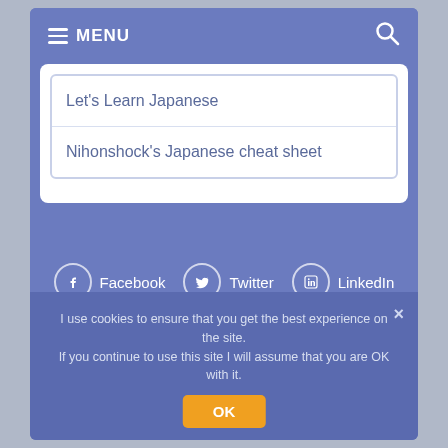≡ MENU
Let's Learn Japanese
Nihonshock's Japanese cheat sheet
Facebook   Twitter   LinkedIn
RSS
© 2001-2022 Jeff Blum, Equinox Enterprises LLC. All Rights Reserved | Privacy Policy
I use cookies to ensure that you get the best experience on the site. If you continue to use this site I will assume that you are OK with it.
OK